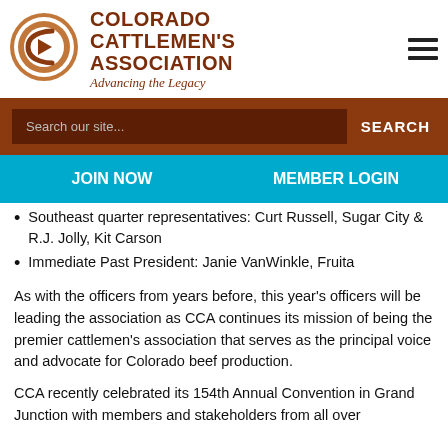[Figure (logo): Colorado Cattlemen's Association circular logo with stylized CCA letters, brown and white color scheme]
COLORADO CATTLEMEN'S ASSOCIATION
Advancing the Legacy
Search our site...
SEARCH
JOIN NOW
MEMBER LOGIN
Southeast quarter representatives: Curt Russell, Sugar City & R.J. Jolly, Kit Carson
Immediate Past President: Janie VanWinkle, Fruita
As with the officers from years before, this year's officers will be leading the association as CCA continues its mission of being the premier cattlemen's association that serves as the principal voice and advocate for Colorado beef production.
CCA recently celebrated its 154th Annual Convention in Grand Junction with members and stakeholders from all over